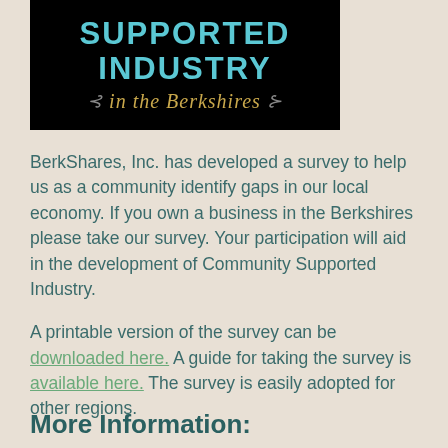[Figure (logo): Black banner image with 'SUPPORTED INDUSTRY' in large teal uppercase letters and 'in the Berkshires' in gold italic script with decorative swash elements]
BerkShares, Inc. has developed a survey to help us as a community identify gaps in our local economy. If you own a business in the Berkshires please take our survey. Your participation will aid in the development of Community Supported Industry.
A printable version of the survey can be downloaded here. A guide for taking the survey is available here. The survey is easily adopted for other regions.
More Information: